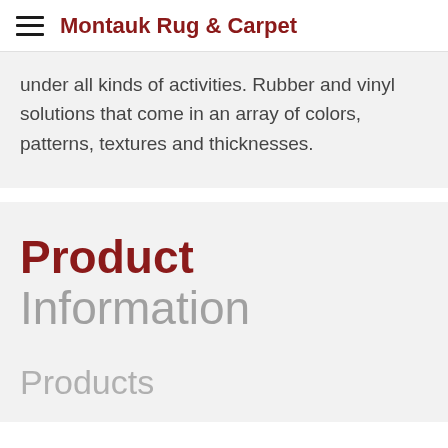Montauk Rug & Carpet
under all kinds of activities. Rubber and vinyl solutions that come in an array of colors, patterns, textures and thicknesses.
Product Information
Products